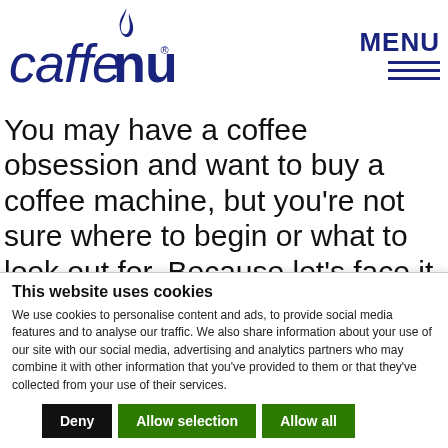[Figure (logo): Caffe Nu logo: stylized lowercase 'caffenu' with a blue flame above the 'u', followed by a registered trademark symbol]
MENU
You may have a coffee obsession and want to buy a coffee machine, but you're not sure where to begin or what to look out for. Because let's face it, there are hundreds of coffee machine types on the
This website uses cookies
We use cookies to personalise content and ads, to provide social media features and to analyse our traffic. We also share information about your use of our site with our social media, advertising and analytics partners who may combine it with other information that you've provided to them or that they've collected from your use of their services.
Deny | Allow selection | Allow all
Necessary  Preferences  Statistics  Marketing  Show details